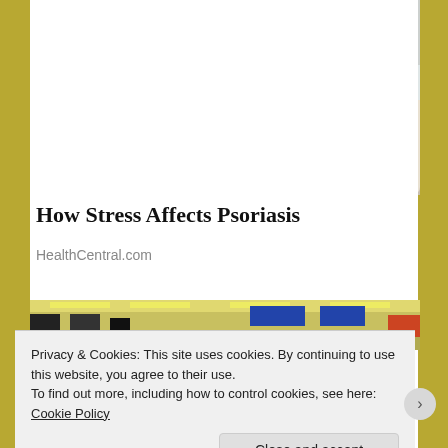[Figure (photo): A woman in a yellow/mustard knit sweater sitting on a couch, touching/scratching her arm, shown from neck down]
How Stress Affects Psoriasis
HealthCentral.com
[Figure (photo): Partial image of a retail store interior with yellow ceiling lights and blue signage]
Privacy & Cookies: This site uses cookies. By continuing to use this website, you agree to their use.
To find out more, including how to control cookies, see here:
Cookie Policy
Close and accept